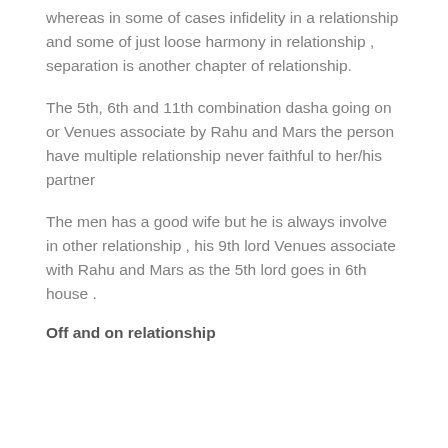whereas in some of cases infidelity in a relationship and some of just loose harmony in relationship , separation is another chapter of relationship.
The 5th, 6th and 11th combination dasha going on or Venues associate by Rahu and Mars the person have multiple relationship never faithful to her/his partner
The men has a good wife but he is always involve in other relationship , his 9th lord Venues associate with Rahu and Mars as the 5th lord goes in 6th house .
Off and on relationship